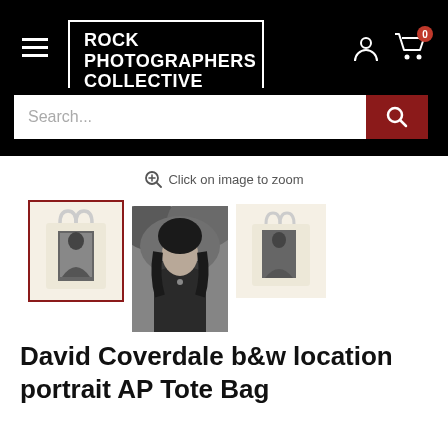ROCK PHOTOGRAPHERS COLLECTIVE
Search...
Click on image to zoom
[Figure (photo): Three product thumbnails: first is a tote bag with a black-and-white portrait (selected, red border), second is a black-and-white portrait photo of a person with long dark curly hair outdoors, third is another tote bag product view]
David Coverdale b&w location portrait AP Tote Bag